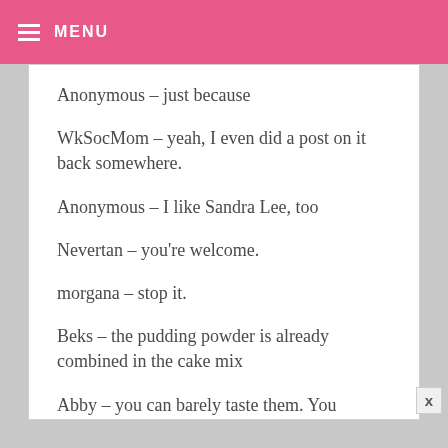MENU
Anonymous – just because
WkSocMom – yeah, I even did a post on it back somewhere.
Anonymous – I like Sandra Lee, too
Nevertan – you're welcome.
morgana – stop it.
Beks – the pudding powder is already combined in the cake mix
Abby – you can barely taste them. You